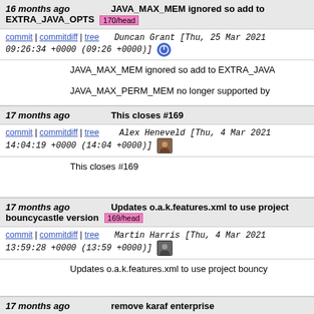16 months ago   JAVA_MAX_MEM ignored so add to EXTRA_JAVA_OPTS  170/head
commit | commitdiff | tree   Duncan Grant [Thu, 25 Mar 2021 09:26:34 +0000 (09:26 +0000)]
JAVA_MAX_MEM ignored so add to EXTRA_JAVA...
JAVA_MAX_PERM_MEM no longer supported by...
17 months ago   This closes #169
commit | commitdiff | tree   Alex Heneveld [Thu, 4 Mar 2021 14:04:19 +0000 (14:04 +0000)]
This closes #169
17 months ago   Updates o.a.k.features.xml to use project bouncycastle version  169/head
commit | commitdiff | tree   Martin Harris [Thu, 4 Mar 2021 13:59:28 +0000 (13:59 +0000)]
Updates o.a.k.features.xml to use project bouncy...
17 months ago   remove karaf enterprise
commit | commitdiff | tree   Alex Heneveld [Wed, 3 Mar 2021